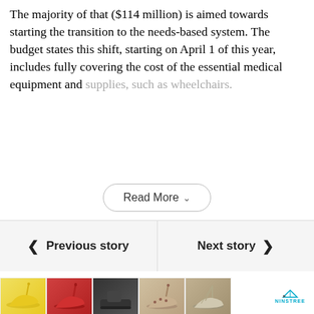The majority of that ($114 million) is aimed towards starting the transition to the needs-based system. The budget states this shift, starting on April 1 of this year, includes fully covering the cost of the essential medical equipment and supplies, such as wheelchairs.
Read More
< Previous story
Next story >
[Figure (photo): Advertisement strip showing women's shoes in various styles and colors including yellow heels, red heels, black espadrilles, leopard print heels, and white strappy heels. NINSTREE branding logo visible.]